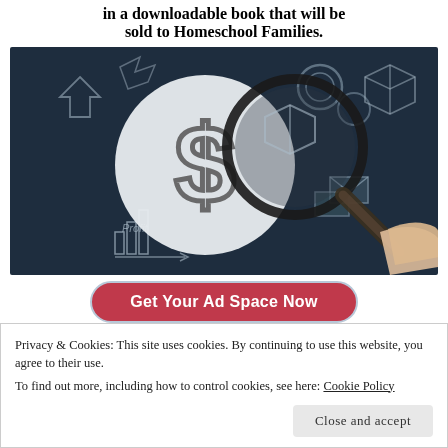in a downloadable book that will be sold to Homeschool Families.
[Figure (photo): Dark background illustration showing a hand holding a magnifying glass over a dollar sign on a white circle, surrounded by chalk-drawn business/profit doodles on a chalkboard background.]
Get Your Ad Space Now
Privacy & Cookies: This site uses cookies. By continuing to use this website, you agree to their use.
To find out more, including how to control cookies, see here: Cookie Policy
Close and accept